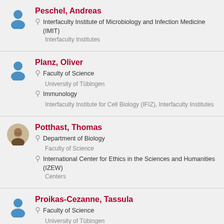Peschel, Andreas
Interfaculty Institute of Microbiology and Infection Medicine (IMIT)
Interfaculty Institutes
Planz, Oliver
Faculty of Science
University of Tübingen
Immunology
Interfaculty Institute for Cell Biology (IFIZ), Interfaculty Institutes
Potthast, Thomas
Department of Biology
Faculty of Science
International Center for Ethics in the Sciences and Humanities (IZEW)
Centers
Proikas-Cezanne, Tassula
Faculty of Science
University of Tübingen